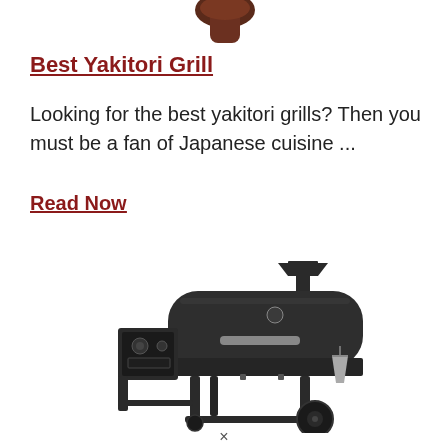[Figure (illustration): Small dark brown yakitori grill skewer/food item partially visible at top of page]
Best Yakitori Grill
Looking for the best yakitori grills? Then you must be a fan of Japanese cuisine ...
Read Now
[Figure (illustration): A dark grey/black pellet smoker grill with a barrel-shaped main chamber, a smokestack with a hat-shaped cap on the right, a side control box on the left with dials, legs, and a metal bucket hanging on the right side. A wheel is visible on the front right leg.]